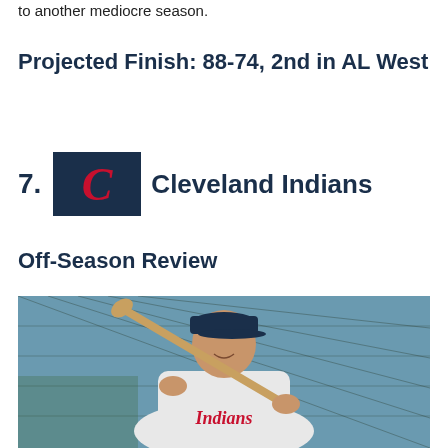to another mediocre season.
Projected Finish: 88-74, 2nd in AL West
7. Cleveland Indians
Off-Season Review
[Figure (photo): Cleveland Indians player in white uniform with 'Indians' script, holding a baseball bat over his shoulder, smiling, standing in front of a batting cage net. Wearing a navy Indians cap with the Chief Wahoo logo.]